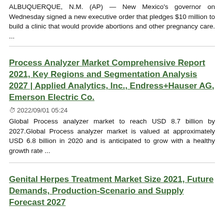ALBUQUERQUE, N.M. (AP) — New Mexico's governor on Wednesday signed a new executive order that pledges $10 million to build a clinic that would provide abortions and other pregnancy care. ...
Process Analyzer Market Comprehensive Report 2021, Key Regions and Segmentation Analysis 2027 | Applied Analytics, Inc., Endress+Hauser AG, Emerson Electric Co.
2022/09/01 05:24
Global Process analyzer market to reach USD 8.7 billion by 2027.Global Process analyzer market is valued at approximately USD 6.8 billion in 2020 and is anticipated to grow with a healthy growth rate ...
Genital Herpes Treatment Market Size 2021, Future Demands, Production-Scenario and Supply Forecast 2027